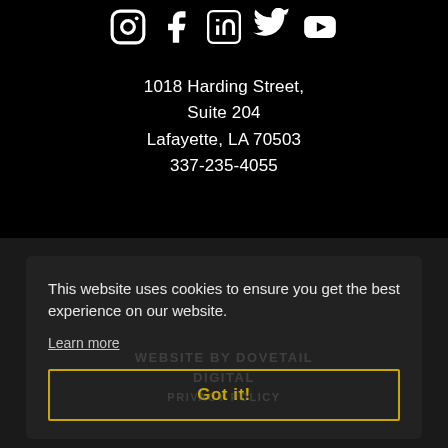[Figure (illustration): Social media icons: Instagram, Facebook, LinkedIn, Twitter, YouTube — white on black background]
1018 Harding Street,
Suite 204
Lafayette, LA 70503
337-235-4055
This website uses cookies to ensure you get the best experience on our website.
Learn more
WEBSITE BY DOVETAIL DIGITAL
PRIVACY POLICY
Got it!